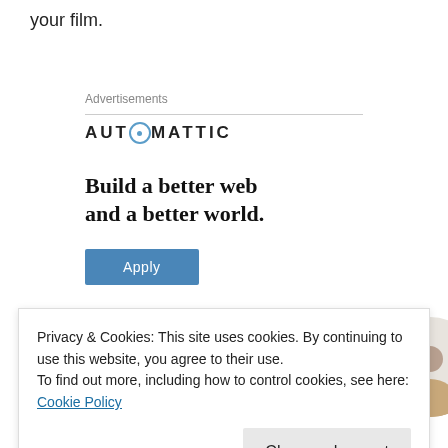your film.
Advertisements
[Figure (infographic): Automattic advertisement banner with logo, headline 'Build a better web and a better world.', an Apply button, and a circular photo of a man]
Privacy & Cookies: This site uses cookies. By continuing to use this website, you agree to their use.
To find out more, including how to control cookies, see here: Cookie Policy
Close and accept